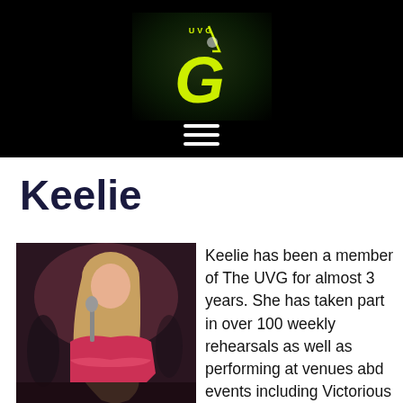[Figure (logo): UVG logo — yellow stylized 'G' and 'UVG' text on a dark background with radial glow]
Keelie
[Figure (photo): Young woman with long blonde hair singing into a microphone, wearing a red off-shoulder top, performing on stage]
Keelie has been a member of The UVG for almost 3 years. She has taken part in over 100 weekly rehearsals as well as performing at venues abd events including Victorious